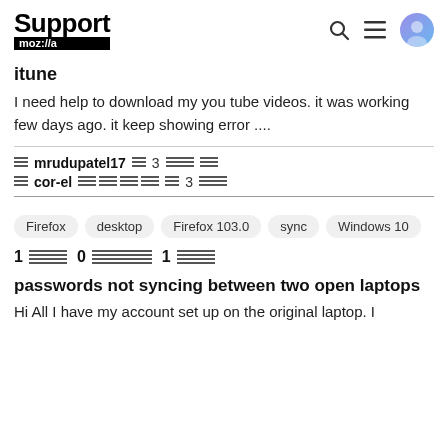Support moz://a
itune
I need help to download my you tube videos. it was working few days ago. it keep showing error ....
mrudupatel17 [icon] 3 [icons] [icons]
cor-el [icons] [icon] 3 [icons]
Firefox  desktop  Firefox 103.0  sync  Windows 10
1 [icon] 0 [icons] 1 [icons]
passwords not syncing between two open laptops
Hi All I have my account set up on the original laptop. I